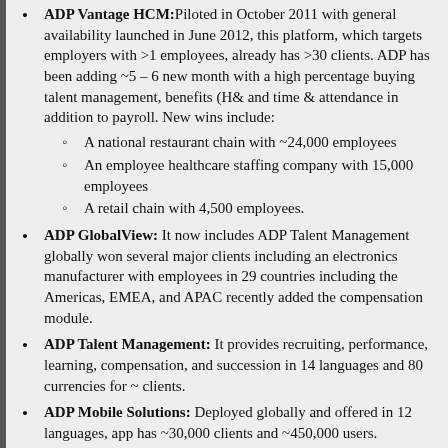ADP Vantage HCM: Piloted in October 2011 with general availability launched in June 2012, this platform, which targets employers with > employees, already has >30 clients. ADP has been adding ~5 – 6 new month with a high percentage buying talent management, benefits (H& and time & attendance in addition to payroll. New wins include:
A national restaurant chain with ~24,000 employees
An employee healthcare staffing company with 15,000 employees
A retail chain with 4,500 employees.
ADP GlobalView: It now includes ADP Talent Management globally won several major clients including an electronics manufacturer with employees in 29 countries including the Americas, EMEA, and APAC recently added the compensation module.
ADP Talent Management: It provides recruiting, performance, learning, compensation, and succession in 14 languages and 80 currencies for ~ clients.
ADP Mobile Solutions: Deployed globally and offered in 12 languages app has ~30,000 clients and ~450,000 users.
See you all next year at HR Tech in Las Vegas October 7 – 9, 2013.
Interested in reading the latest HRO news from NelsonHall? Subscribe to our newsletter by clicking here.